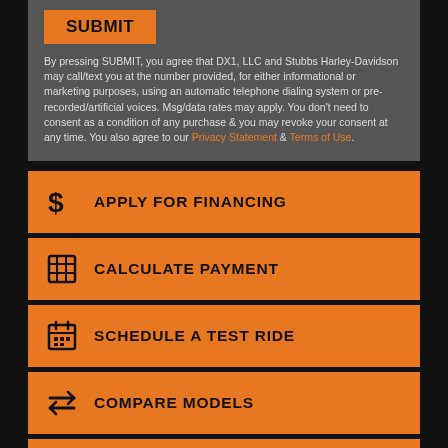SUBMIT
By pressing SUBMIT, you agree that DX1, LLC and Stubbs Harley-Davidson may call/text you at the number provided, for either informational or marketing purposes, using an automatic telephone dialing system or pre-recorded/artificial voices. Msg/data rates may apply. You don't need to consent as a condition of any purchase & you may revoke your consent at any time. You also agree to our Privacy Statement & Terms of Use.
APPLY FOR FINANCING
CALCULATE PAYMENT
SCHEDULE A TEST RIDE
COMPARE MODELS
INSURANCE QUOTE